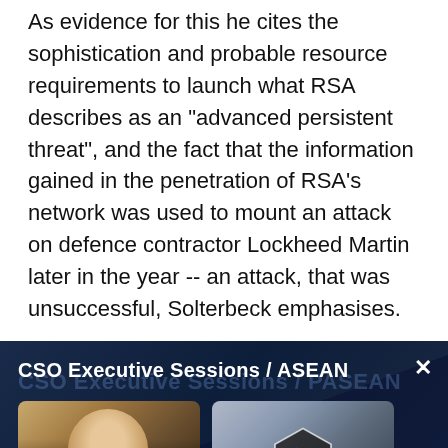As evidence for this he cites the sophistication and probable resource requirements to launch what RSA describes as an "advanced persistent threat", and the fact that the information gained in the penetration of RSA's network was used to mount an attack on defence contractor Lockheed Martin later in the year -- an attack, that was unsuccessful, Solterbeck emphasises.
[Figure (screenshot): Video player embed showing 'CSO Executive Sessions / ASEAN' with two video thumbnails: a man in a suit on the left and a woman with a play button overlay on the right. Below shows 'WITH GUEST' label and partial name text.]